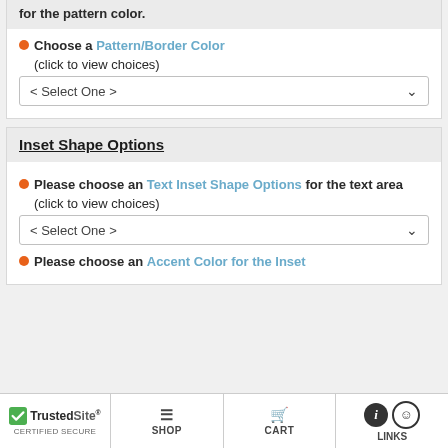for the pattern color.
• Choose a Pattern/Border Color (click to view choices)
< Select One >
Inset Shape Options
• Please choose an Text Inset Shape Options for the text area (click to view choices)
< Select One >
• Please choose an Accent Color for the Inset
TrustedSite CERTIFIED SECURE | SHOP | CART | LINKS